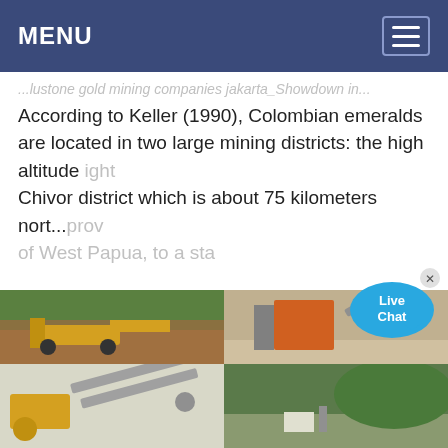MENU
...lustone gold mining companies jakarta_Showdown in...According to Keller (1990), Colombian emeralds are located in two large mining districts: the high altitude Chivor district which is about 75 kilometers nort... ...ight ...prov of West Papua, to a sta
[Figure (photo): Four mining site photos in a 2x2 grid: top-left shows yellow excavator machinery on reddish brown earth with green hills; top-right shows orange crusher/conveyor equipment at a mining site; bottom-left shows yellow industrial conveyor/belt equipment indoors; bottom-right shows mining equipment at a coastal or hilly green site.]